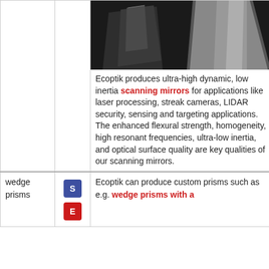[Figure (photo): Photo of optical scanning mirrors / prisms on dark background]
Ecoptik produces ultra-high dynamic, low inertia scanning mirrors for applications like laser processing, streak cameras, LIDAR security, sensing and targeting applications. The enhanced flexural strength, homogeneity, high resonant frequencies, ultra-low inertia, and optical surface quality are key qualities of our scanning mirrors.
wedge prisms
[Figure (other): Icon S (blue square) and icon E (red square)]
Ecoptik can produce custom prisms such as e.g. wedge prisms with a...